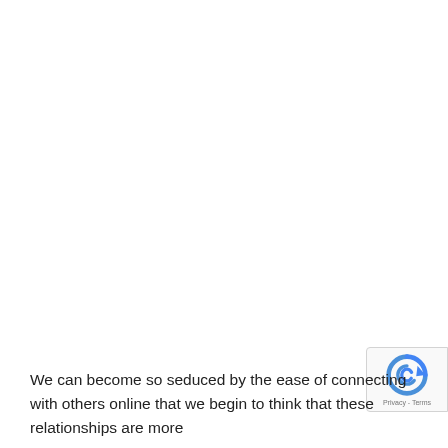We can become so seduced by the ease of connecting with others online that we begin to think that these relationships are more